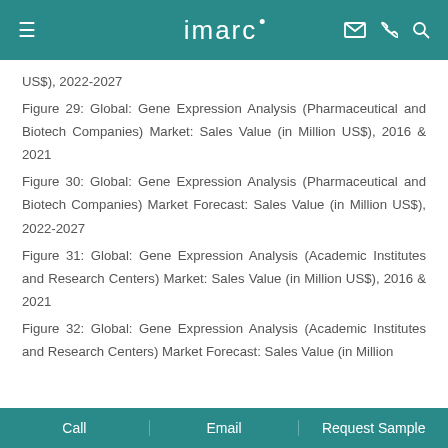imarc
US$), 2022-2027
Figure 29: Global: Gene Expression Analysis (Pharmaceutical and Biotech Companies) Market: Sales Value (in Million US$), 2016 & 2021
Figure 30: Global: Gene Expression Analysis (Pharmaceutical and Biotech Companies) Market Forecast: Sales Value (in Million US$), 2022-2027
Figure 31: Global: Gene Expression Analysis (Academic Institutes and Research Centers) Market: Sales Value (in Million US$), 2016 & 2021
Figure 32: Global: Gene Expression Analysis (Academic Institutes and Research Centers) Market Forecast: Sales Value (in Million
Call   Email   Request Sample